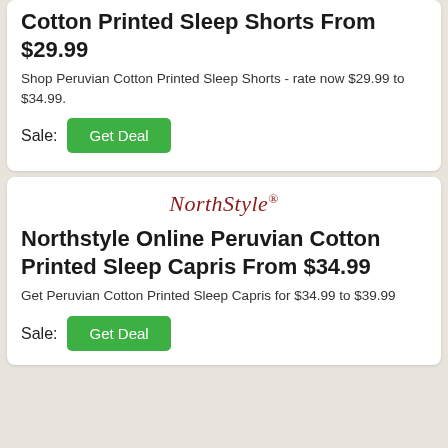Cotton Printed Sleep Shorts From $29.99
Shop Peruvian Cotton Printed Sleep Shorts - rate now $29.99 to $34.99.
Sale: Get Deal
[Figure (logo): NorthStyle brand logo in dark red serif italic font with registered trademark symbol]
Northstyle Online Peruvian Cotton Printed Sleep Capris From $34.99
Get Peruvian Cotton Printed Sleep Capris for $34.99 to $39.99
Sale: Get Deal